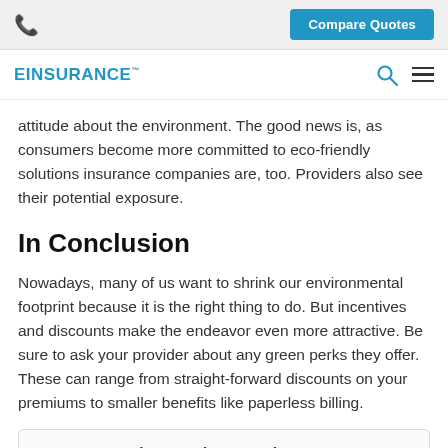Compare Quotes
EINSURANCE
attitude about the environment. The good news is, as consumers become more committed to eco-friendly solutions insurance companies are, too. Providers also see their potential exposure.
In Conclusion
Nowadays, many of us want to shrink our environmental footprint because it is the right thing to do. But incentives and discounts make the endeavor even more attractive. Be sure to ask your provider about any green perks they offer. These can range from straight-forward discounts on your premiums to smaller benefits like paperless billing.
About Barbara Howington